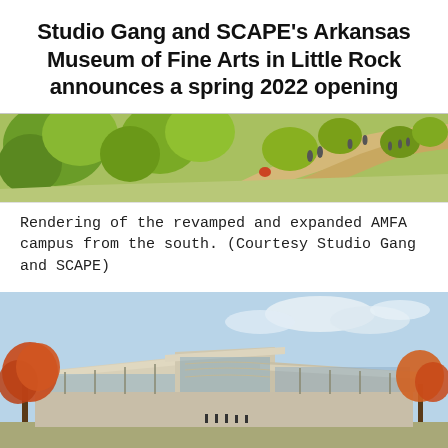Studio Gang and SCAPE's Arkansas Museum of Fine Arts in Little Rock announces a spring 2022 opening
[Figure (illustration): Aerial rendering of the revamped and expanded AMFA campus from the south, showing green trees, pathways, and people walking.]
Rendering of the revamped and expanded AMFA campus from the south. (Courtesy Studio Gang and SCAPE)
[Figure (illustration): Architectural rendering of the new Arkansas Museum of Fine Arts building exterior, showing a modern structure with sweeping roof canopies, glass facades, and autumn trees surrounding it.]